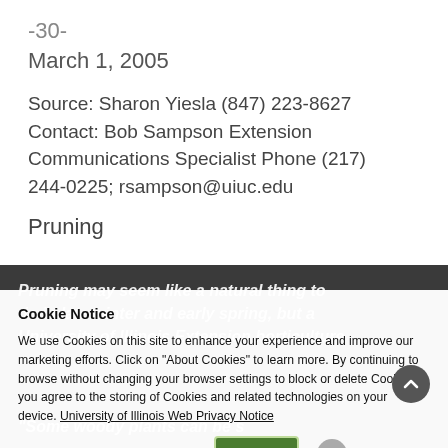-30-
March 1, 2005
Source: Sharon Yiesla (847) 223-8627 Contact: Bob Sampson Extension Communications Specialist Phone (217) 244-0225; rsampson@uiuc.edu
Pruning
Pruning may seem like a natural thing to do in late winter and early spring, but a University of Illinois Extension horticulture
"Some woody plants can be successfully
Cookie Notice
We use Cookies on this site to enhance your experience and improve our marketing efforts. Click on "About Cookies" to learn more. By continuing to browse without changing your browser settings to block or delete Cookies, you agree to the storing of Cookies and related technologies on your device. University of Illinois Web Privacy Notice